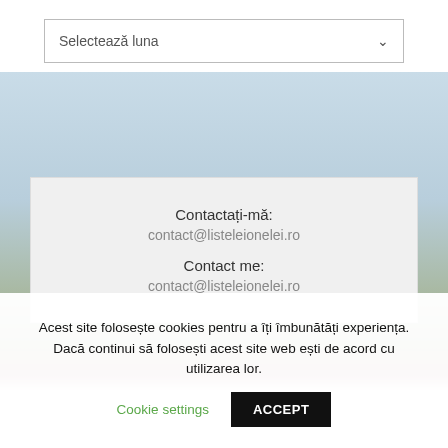[Figure (screenshot): Dropdown selector labeled 'Selectează luna' with a downward chevron arrow]
Contactați-mă:
contact@listeleionelei.ro
Contact me:
contact@listeleionelei.ro
Acest site folosește cookies pentru a îți îmbunătăți experiența. Dacă continui să folosești acest site web ești de acord cu utilizarea lor.
Cookie settings
ACCEPT